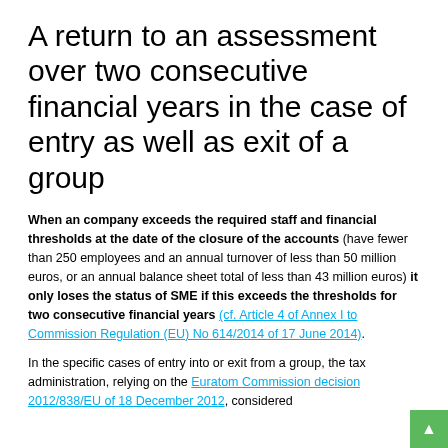A return to an assessment over two consecutive financial years in the case of entry as well as exit of a group
When an company exceeds the required staff and financial thresholds at the date of the closure of the accounts (have fewer than 250 employees and an annual turnover of less than 50 million euros, or an annual balance sheet total of less than 43 million euros) it only loses the status of SME if this exceeds the thresholds for two consecutive financial years (cf. Article 4 of Annex I to Commission Regulation (EU) No 614/2014 of 17 June 2014).
In the specific cases of entry into or exit from a group, the tax administration, relying on the Euratom Commission decision 2012/838/EU of 18 December 2012, considered